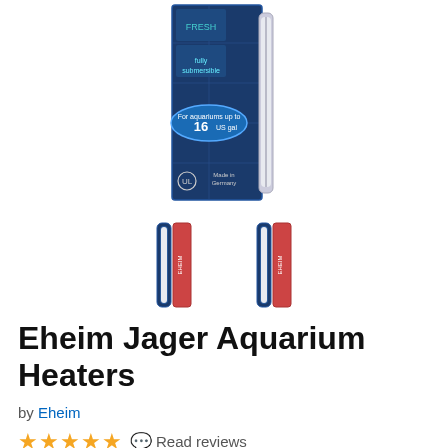[Figure (photo): Product photo of Eheim Jager Aquarium Heater box — tall blue box with heater visible. Shows '16 US gal' label and 'Made in Germany' text.]
[Figure (photo): Two small thumbnail images of the Eheim Jager aquarium heater product, shown side by side.]
Eheim Jager Aquarium Heaters
by Eheim
★★★★★ Read reviews
Selected Option: 50 Watts - For 7-16 Gallon Tanks